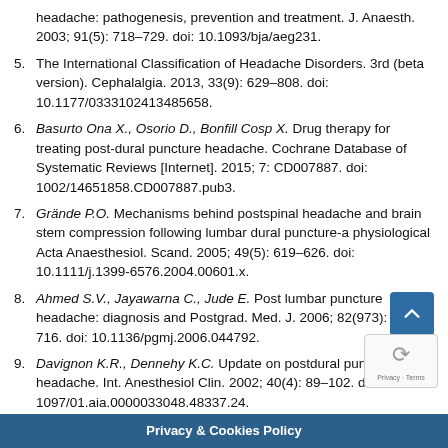headache: pathogenesis, prevention and treatment. J. Anaesth. 2003; 91(5): 718–729. doi: 10.1093/bja/aeg231.
5. The International Classification of Headache Disorders. 3rd (beta version). Cephalalgia. 2013, 33(9): 629–808. doi: 10.1177/0333102413485658.
6. Basurto Ona X., Osorio D., Bonfill Cosp X. Drug therapy for treating post-dural puncture headache. Cochrane Database of Systematic Reviews [Internet]. 2015; 7: CD007887. doi: 1002/14651858.CD007887.pub3.
7. Grände P.O. Mechanisms behind postspinal headache and brain stem compression following lumbar dural puncture-a physiological Acta Anaesthesiol. Scand. 2005; 49(5): 619–626. doi: 10.1111/j.1399-6576.2004.00601.x.
8. Ahmed S.V., Jayawarna C., Jude E. Post lumbar puncture headache: diagnosis and Postgrad. Med. J. 2006; 82(973): 713–716. doi: 10.1136/pgmj.2006.044792.
9. Davignon K.R., Dennehy K.C. Update on postdural puncture headache. Int. Anesthesiol Clin. 2002; 40(4): 89–102. doi: 1097/01.aia.0000033048.48337.24.
10. Harrington B.E. Postdural puncture headache and development of the e... th. Pain Med...